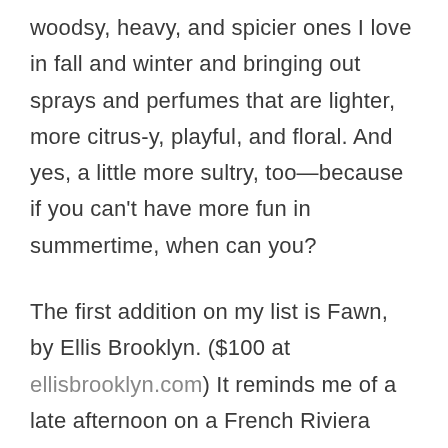woodsy, heavy, and spicier ones I love in fall and winter and bringing out sprays and perfumes that are lighter, more citrus-y, playful, and floral. And yes, a little more sultry, too—because if you can't have more fun in summertime, when can you?
The first addition on my list is Fawn, by Ellis Brooklyn. ($100 at ellisbrooklyn.com) It reminds me of a late afternoon on a French Riviera beach: sun-warmed skin, coconut milk, bergamot, and magnolia.